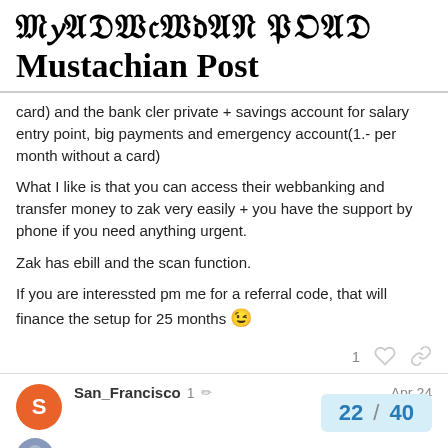Mustachian Post
card) and the bank cler private + savings account for salary entry point, big payments and emergency account(1.- per month without a card)
What I like is that you can access their webbanking and transfer money to zak very easily + you have the support by phone if you need anything urgent.
Zak has ebill and the scan function.
If you are interessted pm me for a referral code, that will finance the setup for 25 months 😉
San_Francisco   1 ✏  Apr 24
22 / 40